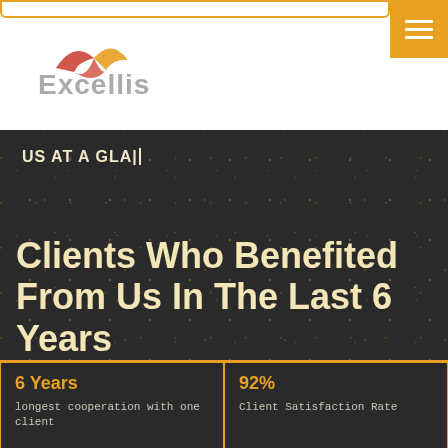[Figure (logo): Excellis company logo with bird/arrow icon in orange and grey text]
US AT A GLANCE
Clients Who Benefited From Us In The Last 6 Years
| 6 Years | 92% |
| longest cooperation with one client | Client Satisfaction Rate |